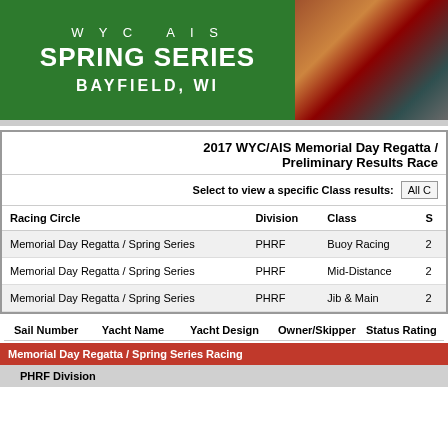[Figure (logo): WYC AIS Spring Series Bayfield WI banner in green with photo of sailing flags]
2017 WYC/AIS Memorial Day Regatta / Preliminary Results Race
Select to view a specific Class results: All C
| Racing Circle | Division | Class | S |
| --- | --- | --- | --- |
| Memorial Day Regatta / Spring Series | PHRF | Buoy Racing | 2 |
| Memorial Day Regatta / Spring Series | PHRF | Mid-Distance | 2 |
| Memorial Day Regatta / Spring Series | PHRF | Jib & Main | 2 |
| Sail Number | Yacht Name | Yacht Design | Owner/Skipper | Status Rating |
| --- | --- | --- | --- | --- |
Memorial Day Regatta / Spring Series Racing
PHRF Division